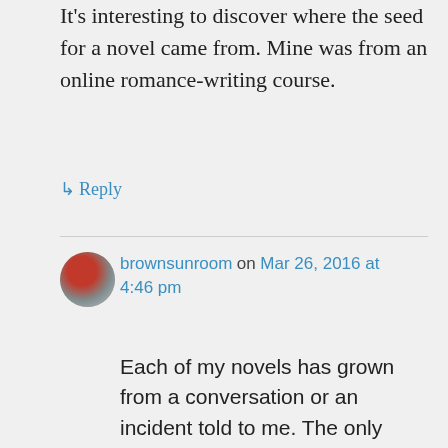It's interesting to discover where the seed for a novel came from. Mine was from an online romance-writing course.
↳ Reply
brownsunroom on Mar 26, 2016 at 4:46 pm
Each of my novels has grown from a conversation or an incident told to me. The only original idea I have come up with is the social history set in the early years after WW2. 'Brick Babies and Paper Dolls' was first written as an autobiography, but feeling restricted writing events in